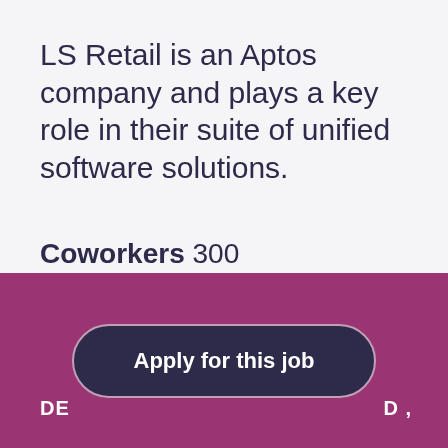LS Retail is an Aptos company and plays a key role in their suite of unified software solutions.
Coworkers 300
Apply for this job
DE D ,